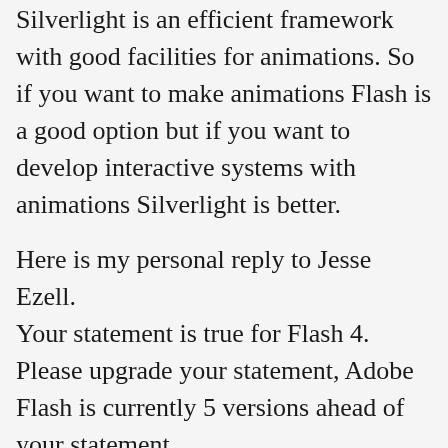Silverlight is an efficient framework with good facilities for animations. So if you want to make animations Flash is a good option but if you want to develop interactive systems with animations Silverlight is better.
Here is my personal reply to Jesse Ezell.
Your statement is true for Flash 4. Please upgrade your statement, Adobe Flash is currently 5 versions ahead of your statement.
This makes me feel like we are bringing back the Neanderthal man (by some means) to this modern